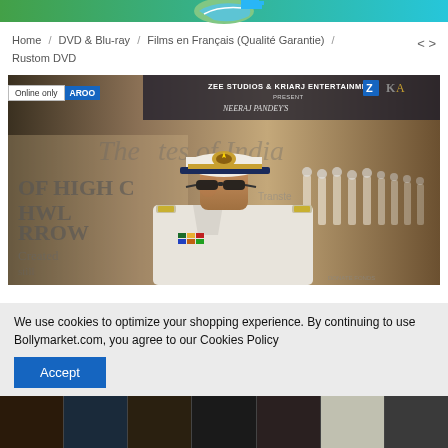[Figure (logo): Green and blue striped logo at top center]
Home / DVD & Blu-ray / Films en Français (Qualité Garantie) / Rustom DVD
[Figure (photo): Movie poster for Rustom — a man in Indian Navy officer uniform with cap, sunglasses, medals and rank insignia. Text: ZEE STUDIOS & KRIARJ ENTERTAINMENT PRESENT NEERAJ PANDEY'S. Background shows newspaper clippings and rows of naval officers. Online only badge with AROO label visible.]
We use cookies to optimize your shopping experience. By continuing to use Bollymarket.com, you agree to our Cookies Policy
Accept